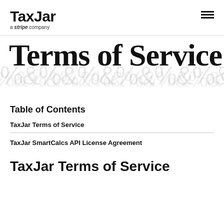TaxJar a stripe company
Terms of Service
Table of Contents
TaxJar Terms of Service
TaxJar SmartCalcs API License Agreement
TaxJar Terms of Service